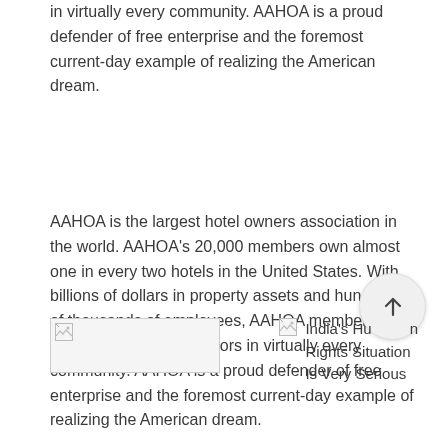in virtually every community. AAHOA is a proud defender of free enterprise and the foremost current-day example of realizing the American dream.
AAHOA is the largest hotel owners association in the world. AAHOA’s 20,000 members own almost one in every two hotels in the United States. With billions of dollars in property assets and hundreds of thousands of employees, AAHOA members are core economic contributors in virtually every community. AAHOA is a proud defender of free enterprise and the foremost current-day example of realizing the American dream.
[Figure (other): Broken/placeholder image thumbnail (navigation previous post area)]
[Figure (other): Broken/placeholder image thumbnail with text: India’s Human Rights Situation Is Very Serious]